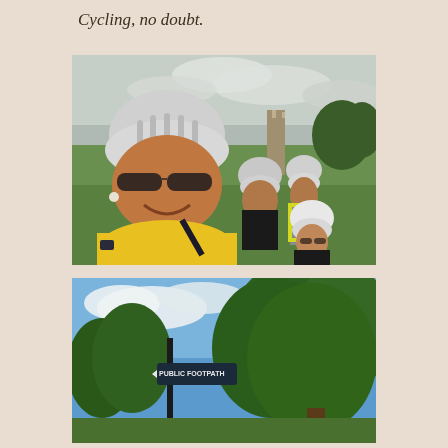Cycling, no doubt.
[Figure (photo): Group selfie of four women wearing cycling helmets and sunglasses, outdoors in a green field. The woman in front wears a yellow top and has a smartwatch. Others wear black and grey outfits with a high-vis vest. In the background is a ruined stone wall structure and trees under a cloudy sky.]
[Figure (photo): Outdoor scene with a black signpost reading 'PUBLIC FOOTPATH' surrounded by lush green trees under a partly cloudy blue sky.]